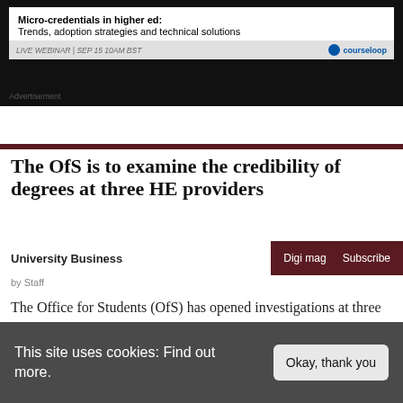[Figure (screenshot): Advertisement banner for Courseloop webinar: 'Micro-credentials in higher ed: Trends, adoption strategies and technical solutions'. Live Webinar | SEP 15 10AM BST]
Advertisement
University Business | Digi mag | Subscribe
The OfS is to examine the credibility of degrees at three HE providers
by Staff
The Office for Students (OfS) has opened investigations at three higher education providers to examine...
[Figure (photo): Photo of students in a classroom/lecture setting]
This site uses cookies: Find out more.
Okay, thank you